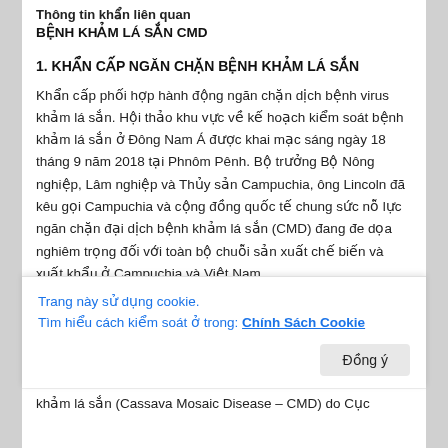Thông tin khẩn liên quan
BỆNH KHẢM LÁ SẮN CMD
1. KHẨN CẤP NGĂN CHẶN BỆNH KHẢM LÁ SẮN
Khẩn cấp phối hợp hành động ngăn chặn dịch bệnh virus khảm lá sắn. Hội thảo khu vực về kế hoạch kiểm soát bệnh khảm lá sắn ở Đông Nam Á được khai mạc sáng ngày 18 tháng 9 năm 2018 tại Phnôm Pênh. Bộ trưởng Bộ Nông nghiệp, Lâm nghiệp và Thủy sản Campuchia, ông Lincoln đã kêu gọi Campuchia và cộng đồng quốc tế chung sức nỗ lực ngăn chặn đại dịch bệnh khảm lá sắn (CMD) đang đe dọa nghiêm trọng đối với toàn bộ chuỗi sản xuất chế biến và xuất khẩu ở Campuchia và Việt Nam.
Năm trước, ngày 16 tháng 9 năm 2017 trang Face book
Trang này sử dụng cookie.
Tìm hiểu cách kiểm soát ở trong: Chính Sách Cookie
khảm lá sắn (Cassava Mosaic Disease – CMD) do Cục